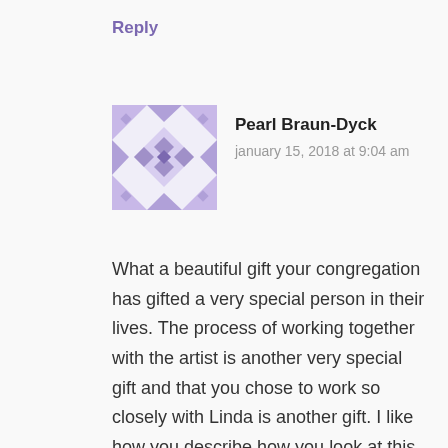Reply
[Figure (illustration): Avatar image: geometric quilt-pattern design in purple/lavender tones, diamond shapes arranged in a square grid pattern]
Pearl Braun-Dyck
january 15, 2018 at 9:04 am
What a beautiful gift your congregation has gifted a very special person in their lives. The process of working together with the artist is another very special gift and that you chose to work so closely with Linda is another gift. I like how you describe how you look at this actual physical painting and I’m sure, on different days, you’ll respond differently as to how you view it – another gift. May we as women always encourage one another to walk courageously